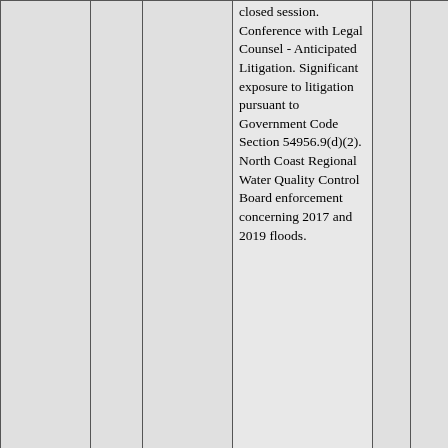| File # | # | Type | Description |  | N |
| --- | --- | --- | --- | --- | --- |
|  |  |  | closed session. Conference with Legal Counsel - Anticipated Litigation. Significant exposure to litigation pursuant to Government Code Section 54956.9(d)(2). North Coast Regional Water Quality Control Board enforcement concerning 2017 and 2019 floods. |  |  |
| 2022-0647 | 42. | Closed Session Calendar Item | The Board of Supervisors, the Board of Directors of the Water Agency, the Board of Commissioners of the Community |  | N |